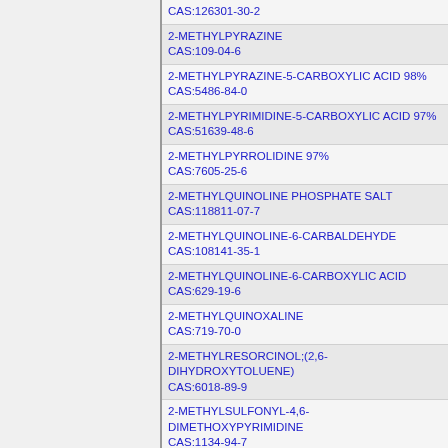CAS:126301-30-2
2-METHYLPYRAZINE
CAS:109-04-6
2-METHYLPYRAZINE-5-CARBOXYLIC ACID 98%
CAS:5486-84-0
2-METHYLPYRIMIDINE-5-CARBOXYLIC ACID 97%
CAS:51639-48-6
2-METHYLPYRROLIDINE 97%
CAS:7605-25-6
2-METHYLQUINOLINE PHOSPHATE SALT
CAS:118811-07-7
2-METHYLQUINOLINE-6-CARBALDEHYDE
CAS:108141-35-1
2-METHYLQUINOLINE-6-CARBOXYLIC ACID
CAS:629-19-6
2-METHYLQUINOXALINE
CAS:719-70-0
2-METHYLRESORCINOL;(2,6-DIHYDROXYTOLUENE)
CAS:6018-89-9
2-METHYLSULFONYL-4,6-DIMETHOXYPYRIMIDINE
CAS:1134-94-7
2-METHYLSULFONYL-4-TRIFLUOROMETHYL BENZO
CAS:142994-06-7
2-METHYLTETRAHYDROFURAN
CAS:95635-56-6
2-METHYLTETRAHYDROFURAN-2-CARBONITRILE
CAS:19362-77-7